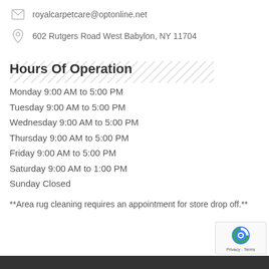royalcarpetcare@optonline.net
602 Rutgers Road West Babylon, NY 11704
Hours Of Operation
Monday 9:00 AM to 5:00 PM
Tuesday 9:00 AM to 5:00 PM
Wednesday 9:00 AM to 5:00 PM
Thursday 9:00 AM to 5:00 PM
Friday 9:00 AM to 5:00 PM
Saturday 9:00 AM to 1:00 PM
Sunday Closed
**Area rug cleaning requires an appointment for store drop off.**